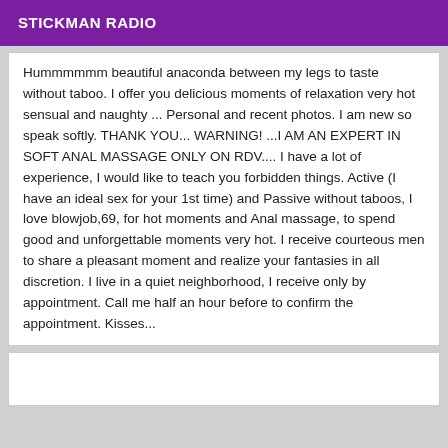STICKMAN RADIO
Hummmmmm beautiful anaconda between my legs to taste without taboo. I offer you delicious moments of relaxation very hot sensual and naughty ... Personal and recent photos. I am new so speak softly. THANK YOU... WARNING! ...I AM AN EXPERT IN SOFT ANAL MASSAGE ONLY ON RDV.... I have a lot of experience, I would like to teach you forbidden things. Active (I have an ideal sex for your 1st time) and Passive without taboos, I love blowjob,69, for hot moments and Anal massage, to spend good and unforgettable moments very hot. I receive courteous men to share a pleasant moment and realize your fantasies in all discretion. I live in a quiet neighborhood, I receive only by appointment. Call me half an hour before to confirm the appointment. Kisses...